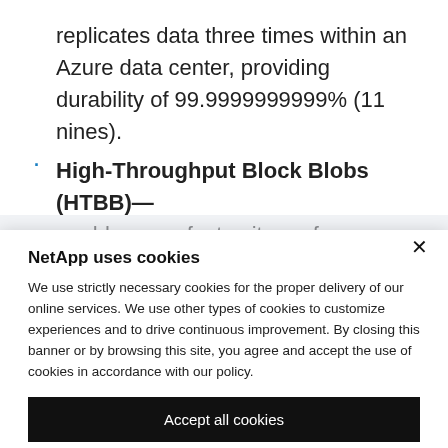replicates data three times within an Azure data center, providing durability of 99.9999999999% (11 nines).
High-Throughput Block Blobs (HTBB)— enables very fast write performance when ingesting blobs over 256KB in size.
NetApp uses cookies
We use strictly necessary cookies for the proper delivery of our online services. We use other types of cookies to customize experiences and to drive continuous improvement. By closing this banner or by browsing this site, you agree and accept the use of cookies in accordance with our policy.
Accept all cookies
Cookie settings